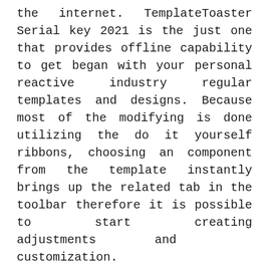the internet. TemplateToaster Serial key 2021 is the just one that provides offline capability to get began with your personal reactive industry regular templates and designs. Because most of the modifying is done utilizing the do it yourself ribbons, choosing an component from the template instantly brings up the related tab in the toolbar therefore it is possible to start creating adjustments and customization. TemplateToaster Latest Version Download is outstanding because it produces attractive templates to satisfy the requirements of the business. It really is the first option for anyone included in superior web advancement along with sophisticated industrial sites. Also Info: Avast Driver Updater Activation Code